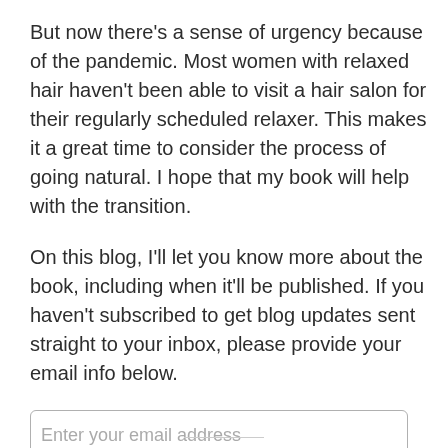But now there's a sense of urgency because of the pandemic. Most women with relaxed hair haven't been able to visit a hair salon for their regularly scheduled relaxer. This makes it a great time to consider the process of going natural. I hope that my book will help with the transition.
On this blog, I'll let you know more about the book, including when it'll be published. If you haven't subscribed to get blog updates sent straight to your inbox, please provide your email info below.
Enter your email address
Subscribe